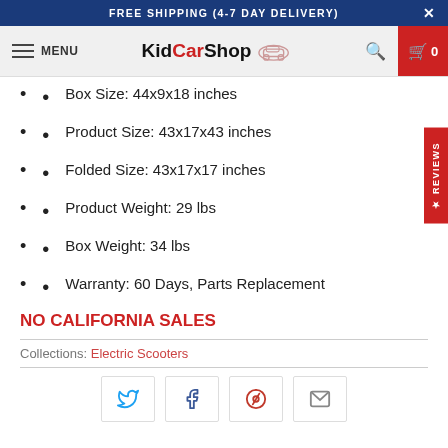FREE SHIPPING (4-7 DAY DELIVERY)  ×
MENU  KidCarShop  [search] [cart 0]
Box Size: 44x9x18 inches
Product Size: 43x17x43 inches
Folded Size: 43x17x17 inches
Product Weight: 29 lbs
Box Weight: 34 lbs
Warranty: 60 Days, Parts Replacement
NO CALIFORNIA SALES
Collections: Electric Scooters